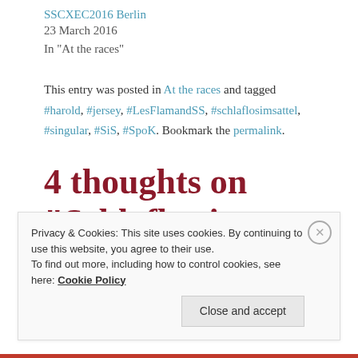SSCXEC2016 Berlin
23 March 2016
In "At the races"
This entry was posted in At the races and tagged #harold, #jersey, #LesFlamandSS, #schlaflosimsattel, #singular, #SiS, #SpoK. Bookmark the permalink.
4 thoughts on “Schlafloc im Sattel”
Privacy & Cookies: This site uses cookies. By continuing to use this website, you agree to their use.
To find out more, including how to control cookies, see here: Cookie Policy
Close and accept